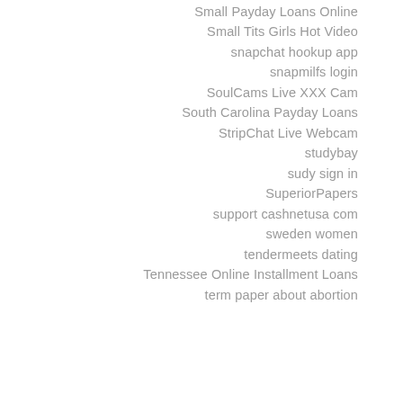Small Payday Loans Online
Small Tits Girls Hot Video
snapchat hookup app
snapmilfs login
SoulCams Live XXX Cam
South Carolina Payday Loans
StripChat Live Webcam
studybay
sudy sign in
SuperiorPapers
support cashnetusa com
sweden women
tendermeets dating
Tennessee Online Installment Loans
term paper about abortion